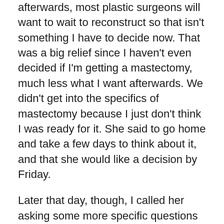afterwards, most plastic surgeons will want to wait to reconstruct so that isn't something I have to decide now. That was a big relief since I haven't even decided if I'm getting a mastectomy, much less what I want afterwards. We didn't get into the specifics of mastectomy because I just don't think I was ready for it. She said to go home and take a few days to think about it, and that she would like a decision by Friday.
Later that day, though, I called her asking some more specific questions about types of mastectomies. There are skin- and nipple-saving/sparing options. You can't get a nipple saving one if you are delaying reconstruction since there won't be anything to build it back on. They can save some skin though and she discussed different reconstruction options including using tissue from my back. It sounds terrible but she said it may be a really